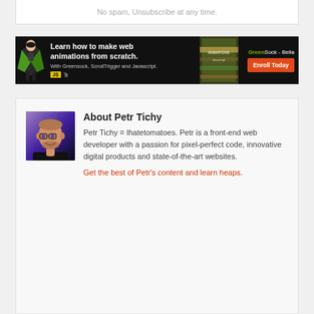No spam, Unsubscribe at any time.
[Figure (illustration): GreenSock - Bella advertisement banner. Dark background with a cartoon superhero figure, text 'Learn how to make web animations from scratch. With Greensock, ScrollTrigger and Javascript.', book cover image, GreenSock - Bella branding, and 'Enroll Today' button.]
[Figure (photo): Headshot of Petr Tichy, a bald man with glasses and a beard wearing a black shirt, with a purple/dark background.]
About Petr Tichy
Petr Tichy = Ihatetomatoes. Petr is a front-end web developer with a passion for pixel-perfect code, innovative digital products and state-of-the-art websites.
Get the best of Petr's content and learn heaps.